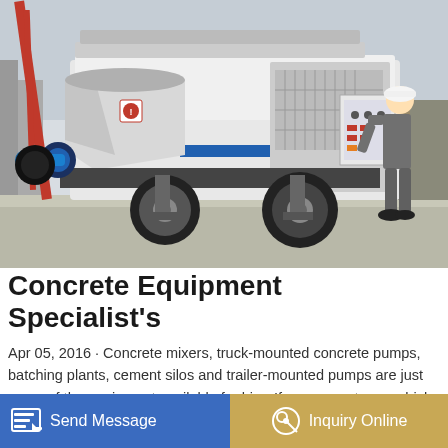[Figure (photo): A trailer-mounted concrete pump machine in white/grey color with a blue electrical connector hose at the front, parked on a concrete surface. A worker in grey overalls and white hard hat is inspecting the control panel on the right side. Red construction crane visible in background left.]
Concrete Equipment Specialist's
Apr 05, 2016 · Concrete mixers, truck-mounted concrete pumps, batching plants, cement silos and trailer-mounted pumps are just some of the equipment available for hire. If you are not sure which will best match job site requirements, then …nazz … e.